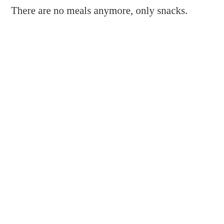There are no meals anymore, only snacks.